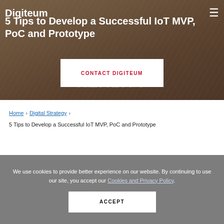[Figure (photo): Hero background image of a pin board with text IDEAS INTO REALITY, brown/tan toned]
Digiteum
5 Tips to Develop a Successful IoT MVP, PoC and Prototype
CONTACT DIGITEUM
Home › Digital Strategy › 5 Tips to Develop a Successful IoT MVP, PoC and Prototype
We use cookies to provide better experience on our website. By continuing to use our site, you accept our Cookies and Privacy Policy.
ACCEPT